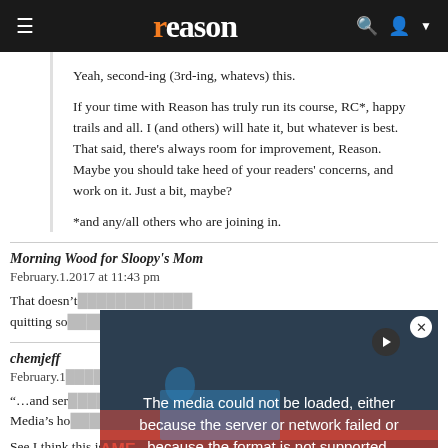reason
Yeah, second-ing (3rd-ing, whatevs) this.

If your time with Reason has truly run its course, RC*, happy trails and all. I (and others) will hate it, but whatever is best. That said, there's always room for improvement, Reason. Maybe you should take heed of your readers' concerns, and work on it. Just a bit, maybe?

*and any/all others who are joining in.
Morning Wood for Sloopy's Mom
February.1.2017 at 11:43 pm

That doesn't... quitting so
chemjeff
February.1...
"...and ser... Media's ho...
See I think this is part of the problem right here.
[Figure (screenshot): Video player overlay showing error message: 'The media could not be loaded, either because the server or network failed or because the format is not supported.' with an X close button and play button icon, overlaid on a protest image showing people with signs including 'AMERICAN!']